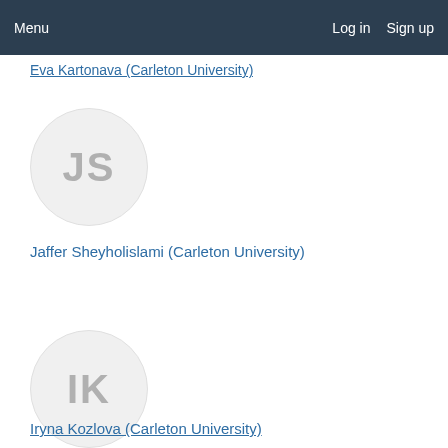Menu  Log in  Sign up
Eva Kartonava (Carleton University)
[Figure (illustration): Avatar circle with initials JS for Jaffer Sheyholislami]
Jaffer Sheyholislami (Carleton University)
[Figure (illustration): Avatar circle with initials IK for Iryna Kozlova]
Iryna Kozlova (Carleton University)